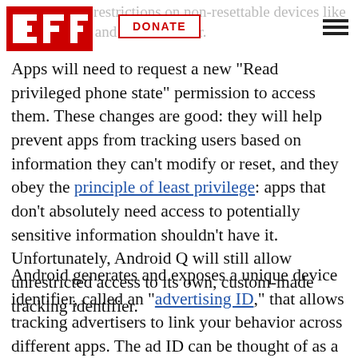EFF — DONATE — [hamburger menu]
Q places new restrictions on non-resettable device identifiers like IMEI number and serial number. Apps will need to request a new "Read privileged phone state" permission to access them. These changes are good: they will help prevent apps from tracking users based on information they can't modify or reset, and they obey the principle of least privilege: apps that don't absolutely need access to potentially sensitive information shouldn't have it. Unfortunately, Android Q will still allow unrestricted access to its own, custom-made tracking identifier.
Android generates and exposes a unique device identifier, called an "advertising ID," that allows tracking advertisers to link your behavior across different apps. The ad ID can be thought of as a tracking cookie, visible by default to every app on